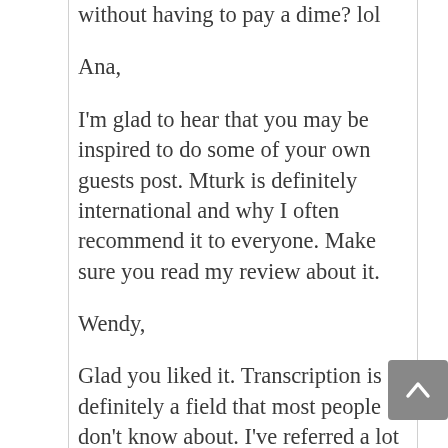to help you make more money without having to pay a dime? lol
Ana,
I'm glad to hear that you may be inspired to do some of your own guests post. Mturk is definitely international and why I often recommend it to everyone. Make sure you read my review about it.
Wendy,
Glad you liked it. Transcription is definitely a field that most people don't know about. I've referred a lot